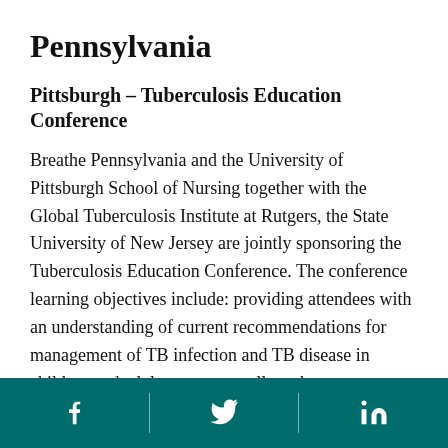Pennsylvania
Pittsburgh – Tuberculosis Education Conference
Breathe Pennsylvania and the University of Pittsburgh School of Nursing together with the Global Tuberculosis Institute at Rutgers, the State University of New Jersey are jointly sponsoring the Tuberculosis Education Conference. The conference learning objectives include: providing attendees with an understanding of current recommendations for management of TB infection and TB disease in children and adolescents, as well as, the current epidemiologic state of TB globally and in the United
Social media icons: Facebook, Twitter, LinkedIn